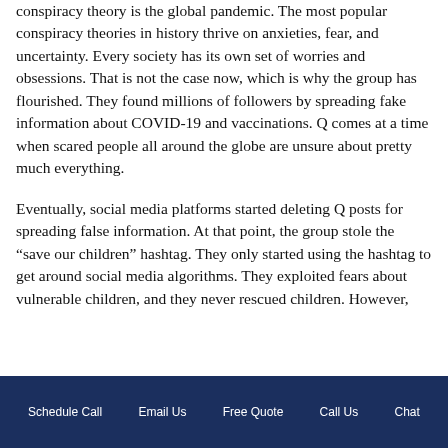conspiracy theory is the global pandemic. The most popular conspiracy theories in history thrive on anxieties, fear, and uncertainty. Every society has its own set of worries and obsessions. That is not the case now, which is why the group has flourished. They found millions of followers by spreading fake information about COVID-19 and vaccinations. Q comes at a time when scared people all around the globe are unsure about pretty much everything.
Eventually, social media platforms started deleting Q posts for spreading false information. At that point, the group stole the “save our children” hashtag. They only started using the hashtag to get around social media algorithms. They exploited fears about vulnerable children, and they never rescued children. However,
Schedule Call   Email Us   Free Quote   Call Us   Chat